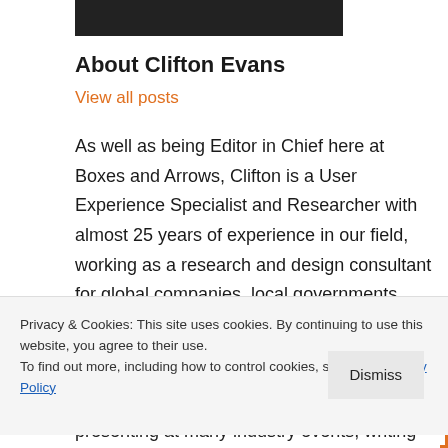[Figure (photo): Partial photo of a person, dark background, top portion cropped]
About Clifton Evans
View all posts
As well as being Editor in Chief here at Boxes and Arrows, Clifton is a User Experience Specialist and Researcher with almost 25 years of experience in our field, working as a research and design consultant for global companies, local governments, medium and small businesses in
Privacy & Cookies: This site uses cookies. By continuing to use this website, you agree to their use.
To find out more, including how to control cookies, see here: Privacy Policy
presenting at many industry events, writing